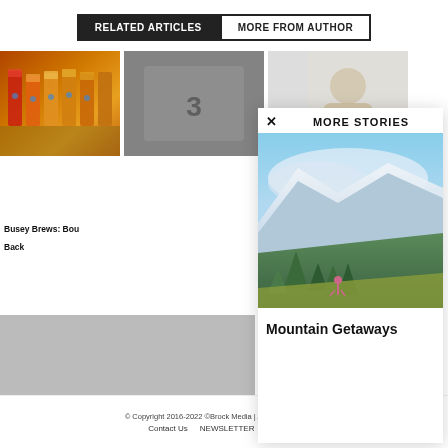RELATED ARTICLES | MORE FROM AUTHOR
[Figure (photo): Row of amber and red beer glasses in a flight arrangement on a stone surface]
[Figure (photo): Black and white close-up photo with number 3]
[Figure (photo): Person working, partially visible, light background]
Busey Brews: Bou Back
MORE STORIES
[Figure (photo): Mountain landscape with snow-capped peaks, evergreen trees, and a trail runner on a hillside]
Mountain Getaways
© Copyright 2016-2022 ©Brock Media | All Rights Reserved
Contact Us    NEWSLETTER    Advertise